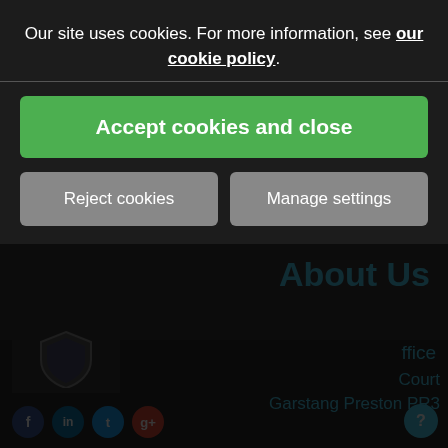Your Local Solicitors
[Figure (screenshot): Dark footer navigation area with caret/chevron up icon, nav links About Us, Legal, Contact partially visible]
Our site uses cookies. For more information, see our cookie policy.
Accept cookies and close
Reject cookies
Manage settings
Garstang Preston PR3